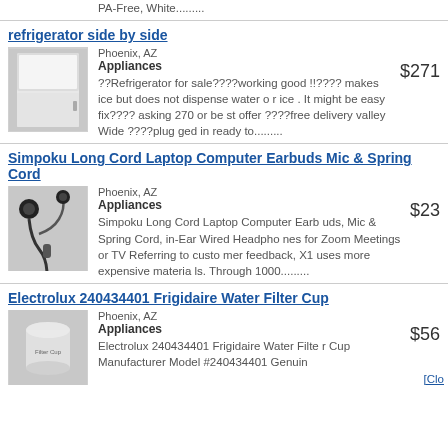PA-Free, White.........
refrigerator side by side
Phoenix, AZ
Appliances
$271
??Refrigerator for sale????working good !!???? makes ice but does not dispense water or ice . It might be easy fix???? asking 270 or best offer ????free delivery valley Wide ????plugged in ready to..........
Simpoku Long Cord Laptop Computer Earbuds Mic & Spring Cord
Phoenix, AZ
Appliances
$23
Simpoku Long Cord Laptop Computer Earbuds, Mic & Spring Cord, in-Ear Wired Headphones for Zoom Meetings or TV Referring to customer feedback, X1 uses more expensive materials. Through 1000..........
Electrolux 240434401 Frigidaire Water Filter Cup
Phoenix, AZ
Appliances
$56
Electrolux 240434401 Frigidaire Water Filter Cup Manufacturer Model #240434401 Genuin
[Clo